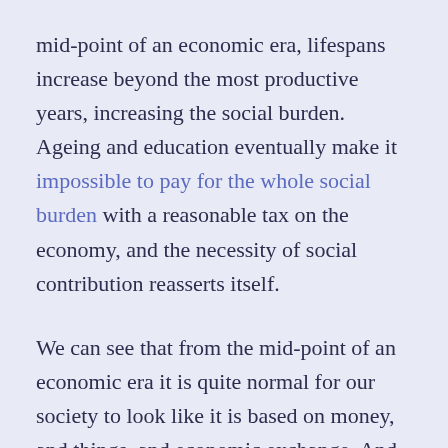mid-point of an economic era, lifespans increase beyond the most productive years, increasing the social burden. Ageing and education eventually make it impossible to pay for the whole social burden with a reasonable tax on the economy, and the necessity of social contribution reasserts itself.
We can see that from the mid-point of an economic era it is quite normal for our society to look like it is based on money, and things, and economic exchange. And because it usually takes a few generations to pass through an economic era: history becomes legend, and